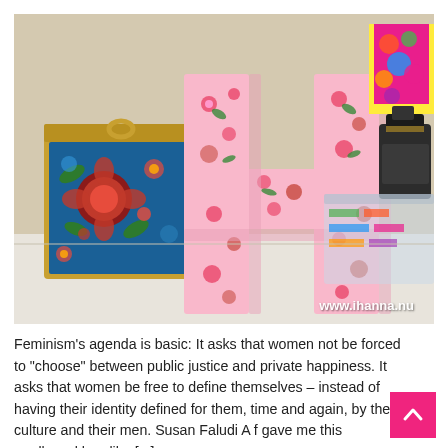[Figure (photo): Photo of a decorative cardboard letter H covered in pink floral fabric/paper, sitting on a white shelf next to a colorful floral tin box (left) and clear plastic storage box with ink bottle (right). Watermark reads www.ihanna.nu]
Feminism's agenda is basic: It asks that women not be forced to "choose" between public justice and private happiness. It asks that women be free to define themselves – instead of having their identity defined for them, time and again, by their culture and their men. Susan Faludi A f gave me this cardboard box-like [...]